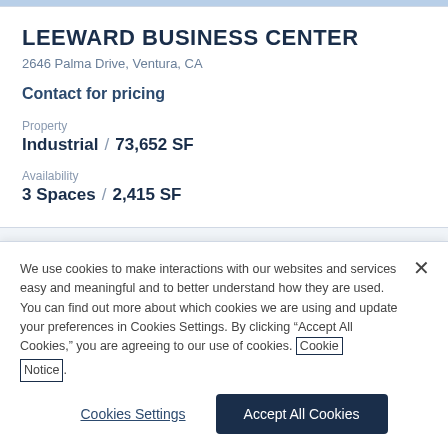LEEWARD BUSINESS CENTER
2646 Palma Drive, Ventura, CA
Contact for pricing
Property
Industrial / 73,652 SF
Availability
3 Spaces / 2,415 SF
We use cookies to make interactions with our websites and services easy and meaningful and to better understand how they are used. You can find out more about which cookies we are using and update your preferences in Cookies Settings. By clicking “Accept All Cookies,” you are agreeing to our use of cookies. Cookie Notice.
Cookies Settings
Accept All Cookies